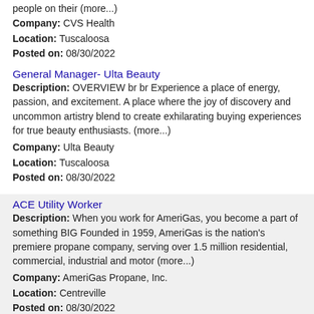people on their (more...)
Company: CVS Health
Location: Tuscaloosa
Posted on: 08/30/2022
General Manager- Ulta Beauty
Description: OVERVIEW br br Experience a place of energy, passion, and excitement. A place where the joy of discovery and uncommon artistry blend to create exhilarating buying experiences for true beauty enthusiasts. (more...)
Company: Ulta Beauty
Location: Tuscaloosa
Posted on: 08/30/2022
ACE Utility Worker
Description: When you work for AmeriGas, you become a part of something BIG Founded in 1959, AmeriGas is the nation's premiere propane company, serving over 1.5 million residential, commercial, industrial and motor (more...)
Company: AmeriGas Propane, Inc.
Location: Centreville
Posted on: 08/30/2022